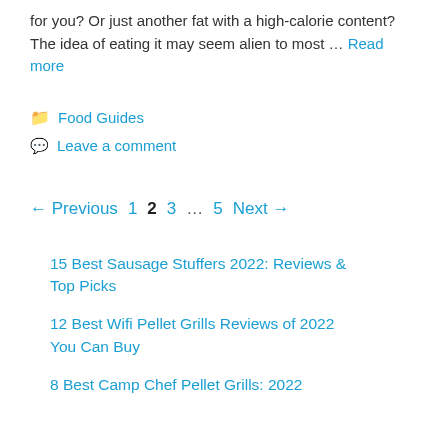for you? Or just another fat with a high-calorie content? The idea of eating it may seem alien to most … Read more
Food Guides
Leave a comment
← Previous  1  2  3  …  5  Next →
15 Best Sausage Stuffers 2022: Reviews & Top Picks
12 Best Wifi Pellet Grills Reviews of 2022 You Can Buy
8 Best Camp Chef Pellet Grills: 2022